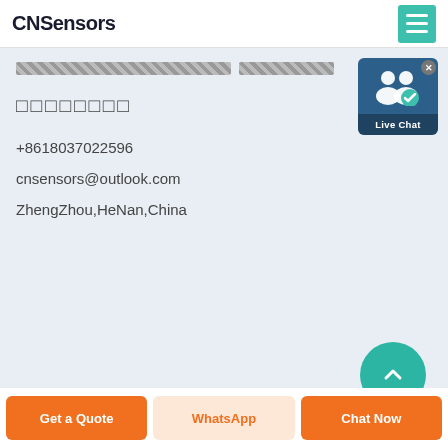CNSensors
[Figure (screenshot): Live Chat widget button with two person icons and a checkmark badge, teal/blue background]
□□□□□□□□
+8618037022596
cnsensors@outlook.com
ZhengZhou,HeNan,China
Get a Quote | WhatsApp | Chat Now